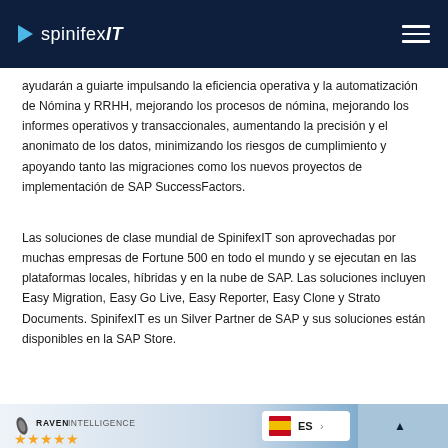SpinifexIT
ayudarán a guiarte impulsando la eficiencia operativa y la automatización de Nómina y RRHH, mejorando los procesos de nómina, mejorando los informes operativos y transaccionales, aumentando la precisión y el anonimato de los datos, minimizando los riesgos de cumplimiento y apoyando tanto las migraciones como los nuevos proyectos de implementación de SAP SuccessFactors.
Las soluciones de clase mundial de SpinifexIT son aprovechadas por muchas empresas de Fortune 500 en todo el mundo y se ejecutan en las plataformas locales, híbridas y en la nube de SAP. Las soluciones incluyen Easy Migration, Easy Go Live, Easy Reporter, Easy Clone y Strato Documents. SpinifexIT es un Silver Partner de SAP y sus soluciones están disponibles en la SAP Store.
[Figure (other): Raven Intelligence review strip with star ratings and Spanish language selector]